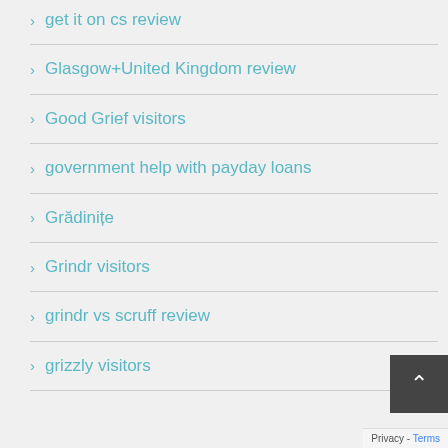get it on cs review
Glasgow+United Kingdom review
Good Grief visitors
government help with payday loans
Grădiniţe
Grindr visitors
grindr vs scruff review
grizzly visitors